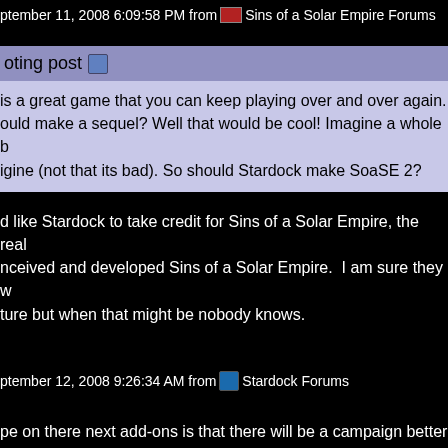September 11, 2008 6:09:58 PM from Sins of a Solar Empire Forums
oting post
is a great game that you can keep playing over and over again. ould make a sequel? Well that would be cool! Imagine a whole b igine (not that its bad). So should Stardock make SoaSE 2?
d like Stardock to take credit for Sins of a Solar Empire, the real nceived and developed Sins of a Solar Empire.  I am sure they w ture but when that might be nobody knows.
September 12, 2008 9:26:34 AM from Stardock Forums
pe on there next add-ons is that there will be a campaign better happen planetary battles. i would looove to see that you send c